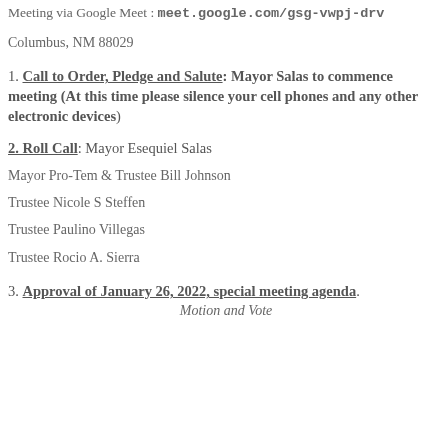Meeting via Google Meet : meet.google.com/gsg-vwpj-drv
Columbus, NM 88029
1. Call to Order, Pledge and Salute: Mayor Salas to commence meeting (At this time please silence your cell phones and any other electronic devices)
2. Roll Call: Mayor Esequiel Salas
Mayor Pro-Tem & Trustee Bill Johnson
Trustee Nicole S Steffen
Trustee Paulino Villegas
Trustee Rocio A. Sierra
3. Approval of January 26, 2022, special meeting agenda.
Motion and Vote